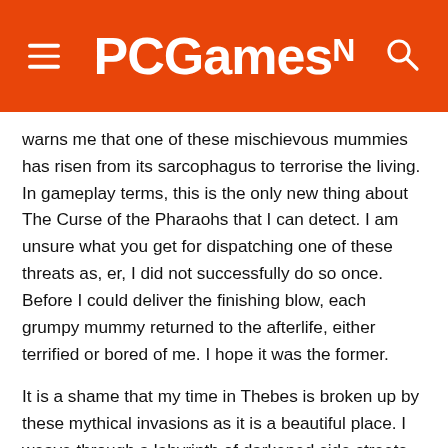PCGamesN
warns me that one of these mischievous mummies has risen from its sarcophagus to terrorise the living. In gameplay terms, this is the only new thing about The Curse of the Pharaohs that I can detect. I am unsure what you get for dispatching one of these threats as, er, I did not successfully do so once. Before I could deliver the finishing blow, each grumpy mummy returned to the afterlife, either terrified or bored of me. I hope it was the former.
It is a shame that my time in Thebes is broken up by these mythical invasions as it is a beautiful place. I weave through a labyrinth of darkened side streets that, now and again, make way for bright and colourful plazas, meeting places flecked with patches of flora. After climbing a large wall –